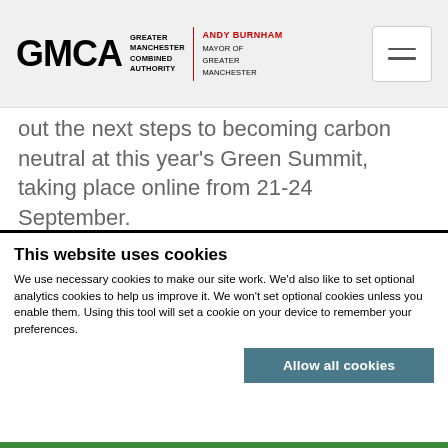GMCA — Greater Manchester Combined Authority | Andy Burnham, Mayor of Greater Manchester
out the next steps to becoming carbon neutral at this year's Green Summit, taking place online from 21-24 September.
Now in its third year, the Greater Manchester Green Summit 2020 will mark progress made towards the goals of the Five-Year
This website uses cookies
We use necessary cookies to make our site work. We'd also like to set optional analytics cookies to help us improve it. We won't set optional cookies unless you enable them. Using this tool will set a cookie on your device to remember your preferences.
Allow all cookies